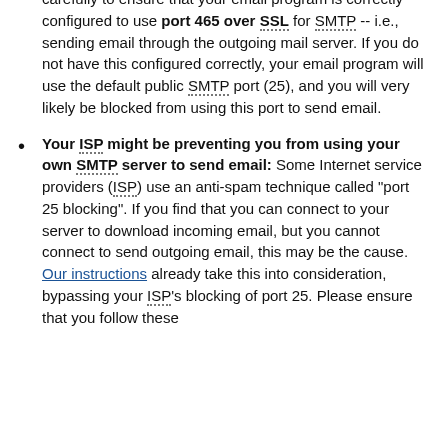carefully to ensure that your email program is correctly configured to use port 465 over SSL for SMTP -- i.e., sending email through the outgoing mail server. If you do not have this configured correctly, your email program will use the default public SMTP port (25), and you will very likely be blocked from using this port to send email.
Your ISP might be preventing you from using your own SMTP server to send email: Some Internet service providers (ISP) use an anti-spam technique called "port 25 blocking". If you find that you can connect to your server to download incoming email, but you cannot connect to send outgoing email, this may be the cause. Our instructions already take this into consideration, bypassing your ISP's blocking of port 25. Please ensure that you follow these instructions carefully.